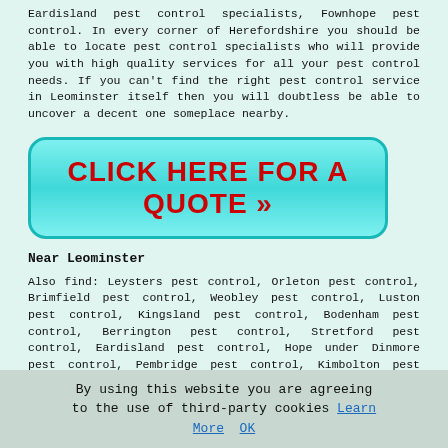Eardisland pest control specialists, Fownhope pest control. In every corner of Herefordshire you should be able to locate pest control specialists who will provide you with high quality services for all your pest control needs. If you can't find the right pest control service in Leominster itself then you will doubtless be able to uncover a decent one someplace nearby.
[Figure (other): Cyan/turquoise rounded button with bold red text: CLICK HERE FOR A QUOTE >>]
Near Leominster
Also find: Leysters pest control, Orleton pest control, Brimfield pest control, Weobley pest control, Luston pest control, Kingsland pest control, Bodenham pest control, Berrington pest control, Stretford pest control, Eardisland pest control, Hope under Dinmore pest control, Pembridge pest control, Kimbolton pest control, Broadward pest control, Docklow pest control services and more. All these villages and towns are served by companies who do pest control. Leominster business and home owners can get pest
By using this website you are agreeing to the use of third-party cookies Learn More  OK